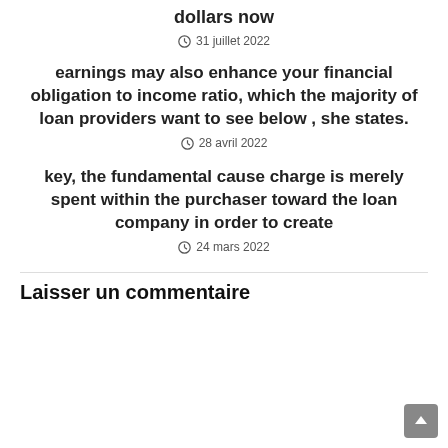dollars now
31 juillet 2022
earnings may also enhance your financial obligation to income ratio, which the majority of loan providers want to see below , she states.
28 avril 2022
key, the fundamental cause charge is merely spent within the purchaser toward the loan company in order to create
24 mars 2022
Laisser un commentaire